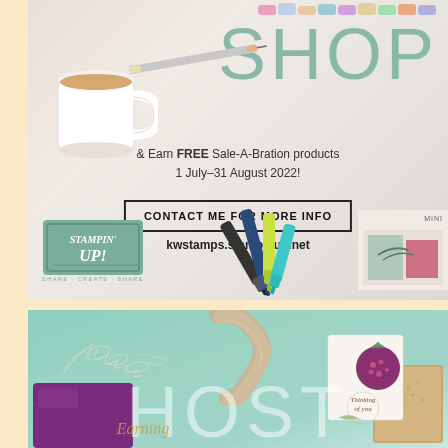[Figure (photo): Top banner with photo of craft supplies (markers, coffee mug, pens) on light background with large SHOP text in mint/sage color, Stampin Up logo, and three colorful markers]
& Earn FREE Sale-A-Bration products
1 July–31 August 2022!
CONTACT ME FOR MORE INFO
kwstamps.stampinup.net
[Figure (photo): Bottom banner with mint green background showing craft items including ribbon, decorative card with 'Thinking of you' text, foliage die cut, purple embossed paper, and large HOST text in light mint color]